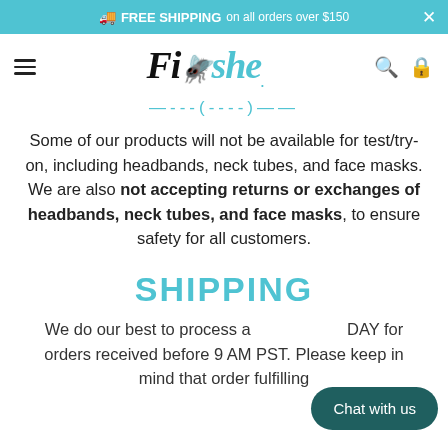🚚 FREE SHIPPING on all orders over $150
[Figure (logo): Fishe brand logo in black and teal italic serif font]
Some of our products will not be available for test/try-on, including headbands, neck tubes, and face masks. We are also not accepting returns or exchanges of headbands, neck tubes, and face masks, to ensure safety for all customers.
SHIPPING
We do our best to process a DAY for orders received before 9 AM PST. Please keep in mind that order fulfilling